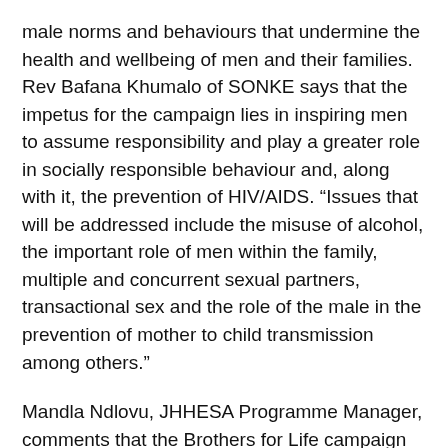male norms and behaviours that undermine the health and wellbeing of men and their families. Rev Bafana Khumalo of SONKE says that the impetus for the campaign lies in inspiring men to assume responsibility and play a greater role in socially responsible behaviour and, along with it, the prevention of HIV/AIDS. “Issues that will be addressed include the misuse of alcohol, the important role of men within the family, multiple and concurrent sexual partners, transactional sex and the role of the male in the prevention of mother to child transmission among others.”
Mandla Ndlovu, JHHESA Programme Manager, comments that the Brothers for Life campaign will comprise a massive communication campaign designed to raise the issues, educate and inform South African “South Africans can use some of the contents should